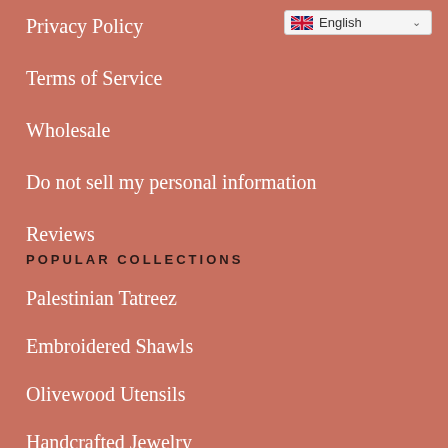[Figure (screenshot): Language selector dropdown showing UK flag and 'English' text]
Privacy Policy
Terms of Service
Wholesale
Do not sell my personal information
Reviews
POPULAR COLLECTIONS
Palestinian Tatreez
Embroidered Shawls
Olivewood Utensils
Handcrafted Jewelry
Yoga & Bag Straps